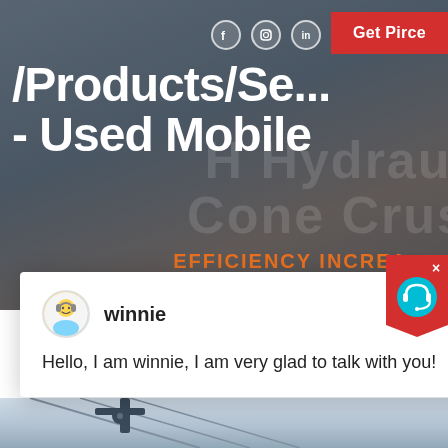[Figure (screenshot): Website screenshot showing a hero banner for a mining/crushing equipment page with text '/Products/Se... - Used Mobile' overlaid on industrial machinery background, with social media icons, a red 'Get Pirce' button, orange 'EFFICIENCY INCREA...' text, a white chat popup with avatar 'winnie' saying 'Hello, I am winnie, I am very glad to talk with you!', a red support icon, a blue circle with '1', and a bottom photo of industrial equipment.]
/Products/Se... - Used Mobile
EFFICIENCY INCREA
Get Pirce
winnie
Hello, I am winnie, I am very glad to talk with you!